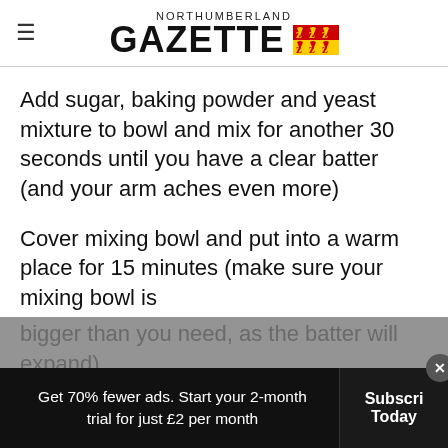NORTHUMBERLAND GAZETTE
Add sugar, baking powder and yeast mixture to bowl and mix for another 30 seconds until you have a clear batter (and your arm aches even more)
Cover mixing bowl and put into a warm place for 15 minutes (make sure your mixing bowl is bigger than you need, as the batter will expand)
Stage 3 – How to bake your crumpets
Get 70% fewer ads. Start your 2-month trial for just £2 per month   Subscribe Today